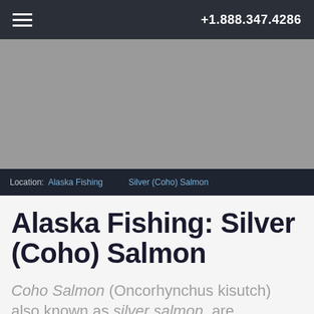+1.888.347.4286
[Figure (photo): Hero image placeholder — grey rectangle representing a salmon fishing scene]
Location: Alaska Fishing > Silver (Coho) Salmon
Alaska Fishing: Silver (Coho) Salmon
Coho Salmon (Oncorhynchus kisutch) also known as silver salmon, are